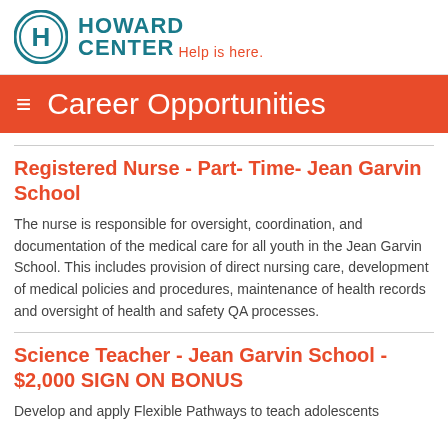[Figure (logo): Howard Center logo with circular H icon and tagline 'Help is here.']
Career Opportunities
Registered Nurse - Part- Time- Jean Garvin School
The nurse is responsible for oversight, coordination, and documentation of the medical care for all youth in the Jean Garvin School. This includes provision of direct nursing care, development of medical policies and procedures, maintenance of health records and oversight of health and safety QA processes.
Science Teacher - Jean Garvin School - $2,000 SIGN ON BONUS
Develop and apply Flexible Pathways to teach adolescents